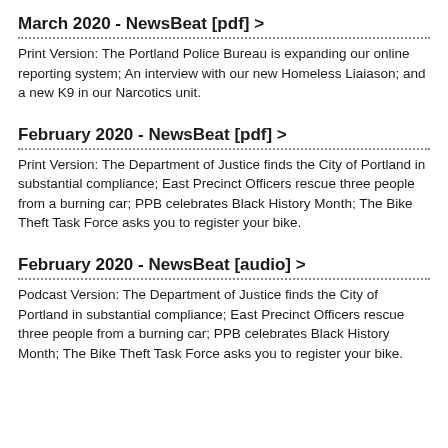March 2020 - NewsBeat [pdf] >
Print Version: The Portland Police Bureau is expanding our online reporting system; An interview with our new Homeless Liaiason; and a new K9 in our Narcotics unit.
February 2020 - NewsBeat [pdf] >
Print Version: The Department of Justice finds the City of Portland in substantial compliance; East Precinct Officers rescue three people from a burning car; PPB celebrates Black History Month; The Bike Theft Task Force asks you to register your bike.
February 2020 - NewsBeat [audio] >
Podcast Version: The Department of Justice finds the City of Portland in substantial compliance; East Precinct Officers rescue three people from a burning car; PPB celebrates Black History Month; The Bike Theft Task Force asks you to register your bike.